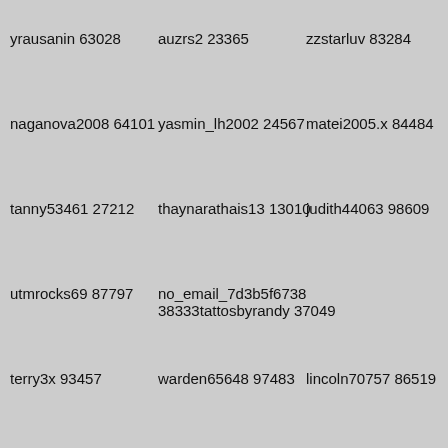yrausanin 63028
auzrs2 23365
zzstarluv 83284
naganova2008 64101
yasmin_lh2002 24567
matei2005.x 84484
tanny53461 27212
thaynarathais13 13010
judith44063 98609
utmrocks69 87797
no_email_7d3b5f6738 38333tattosbyrandy 37049
terry3x 93457
warden65648 97483
lincoln70757 86519